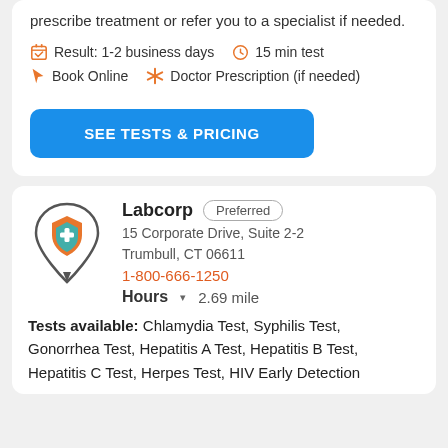prescribe treatment or refer you to a specialist if needed.
Result: 1-2 business days   15 min test
Book Online   Doctor Prescription (if needed)
SEE TESTS & PRICING
[Figure (logo): Labcorp location pin icon with orange shield and teal checkmark]
Labcorp  Preferred
15 Corporate Drive, Suite 2-2
Trumbull, CT 06611
1-800-666-1250
Hours  2.69 mile
Tests available: Chlamydia Test, Syphilis Test, Gonorrhea Test, Hepatitis A Test, Hepatitis B Test, Hepatitis C Test, Herpes Test, HIV Early Detection